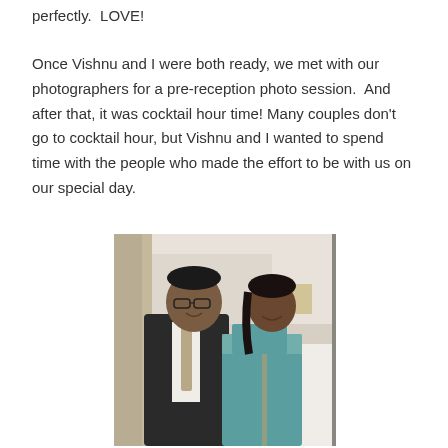perfectly.  LOVE!
Once Vishnu and I were both ready, we met with our photographers for a pre-reception photo session.  And after that, it was cocktail hour time!  Many couples don't go to cocktail hour, but Vishnu and I wanted to spend time with the people who made the effort to be with us on our special day.
[Figure (photo): A couple posing together at what appears to be a wedding reception venue. The man is wearing a dark suit with a light tie, and the woman is wearing a teal/green Indian saree with embroidered details. They are both smiling.]